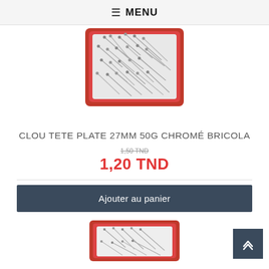MENU
[Figure (photo): Product photo: a red plastic tray filled with small silver/chrome flat-head nails (clous tête plate)]
CLOU TETE PLATE 27MM 50G CHROMÉ BRICOLA
1,20 TND
Ajouter au panier
[Figure (photo): Partial product photo at bottom of page, similar nails product in red packaging]